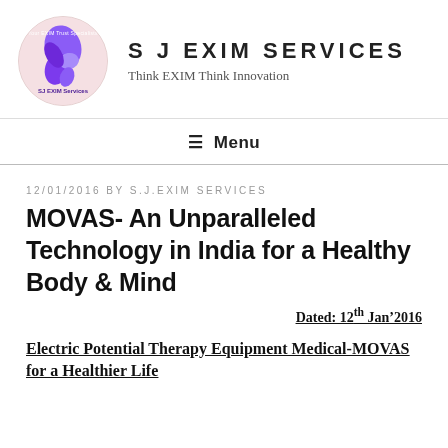[Figure (logo): S J EXIM Services circular logo with purple swirl design on pink/cream background]
S J EXIM SERVICES
Think EXIM Think Innovation
≡ Menu
12/01/2016 BY S.J.EXIM SERVICES
MOVAS- An Unparalleled Technology in India for a Healthy Body & Mind
Dated: 12th Jan'2016
Electric Potential Therapy Equipment Medical-MOVAS for a Healthier Life